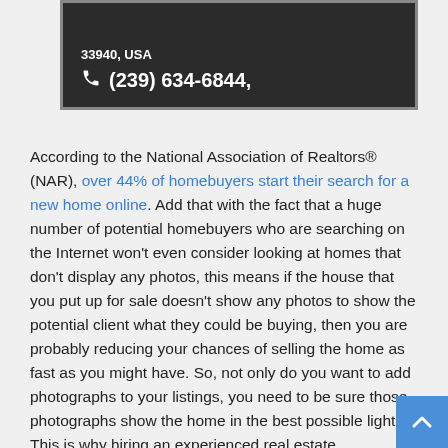[Figure (screenshot): Dark contact info box showing phone number (239) 634-6844 with phone icon on dark background with border]
According to the National Association of Realtors® (NAR), over 44% of homebuyers start their search for a new home online. Add that with the fact that a huge number of potential homebuyers who are searching on the Internet won't even consider looking at homes that don't display any photos, this means if the house that you put up for sale doesn't show any photos to show the potential client what they could be buying, then you are probably reducing your chances of selling the home as fast as you might have. So, not only do you want to add photographs to your listings, you need to be sure those photographs show the home in the best possible light. This is why hiring an experienced real estate photographer will help the fit on P...